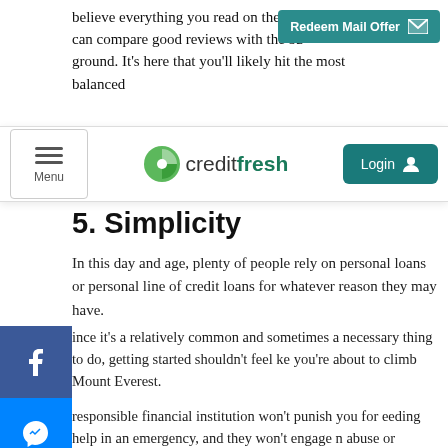believe everything you read on the web. But you can compare good reviews with the ba... ground. It's here that you'll likely hit the most balanced
[Figure (screenshot): Teal 'Redeem Mail Offer' button with envelope icon in top right corner]
[Figure (logo): CreditFresh logo with green lime icon and text 'creditfresh', with Menu and Login navigation buttons]
5. Simplicity
In this day and age, plenty of people rely on personal loans or personal line of credit loans for whatever reason they may have.
ince it's a relatively common and sometimes a necessary thing to do, getting started shouldn't feel ke you're about to climb Mount Everest.
responsible financial institution won't punish you for eeding help in an emergency, and they won't engage n abuse or intimidation when speaking with you. nstead, they'll be helpful and courteous, and they'll nake it easy to request, receive, and manage your